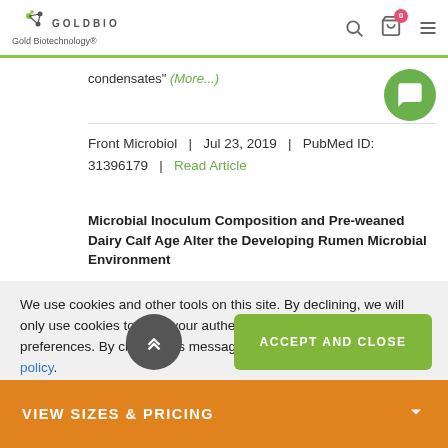GOLDBIO Gold Biotechnology®
condensates" (More...)
Front Microbiol | Jul 23, 2019 | PubMed ID: 31396179 | Read Article
Microbial Inoculum Composition and Pre-weaned Dairy Calf Age Alter the Developing Rumen Microbial Environment
We use cookies and other tools on this site. By declining, we will only use cookies to track your authentication session and consent preferences. By closing this message, you consent to our privacy policy.
VIEW SIZES & PRICING